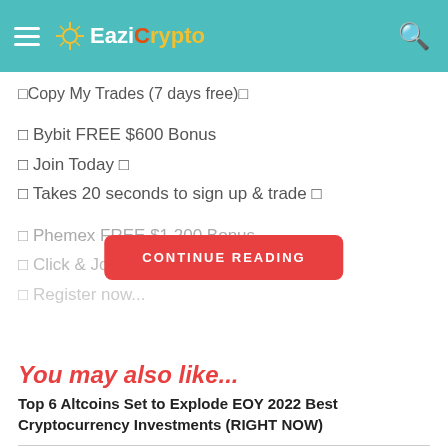EaziCrypto
□Copy My Trades (7 days free)□
□ Bybit FREE $600 Bonus
□ Join Today □
□ Takes 20 seconds to sign up & trade □
□ Phemex FREE $1,200 Bonus
□ Click & Join Here □
□ Register now...
CONTINUE READING
You may also like...
Top 6 Altcoins Set to Explode EOY 2022 Best Cryptocurrency Investments (RIGHT NOW)
Ethereum Classic Hashrate Climbs! But Innosilicon A10 Pro miners scramble to firmware update...